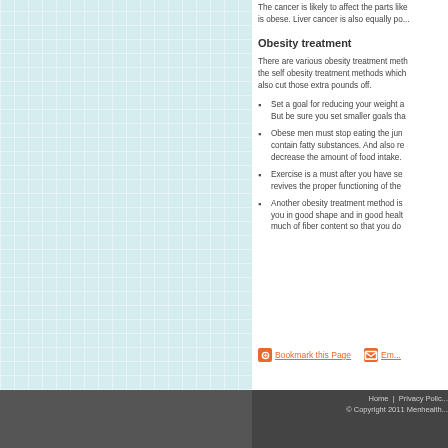The cancer is likely to affect the parts like... is obese. Liver cancer is also equally po...
Obesity treatment
There are various obesity treatment meth... the self obesity treatment methods which... also cut those extra pounds off.
Set a goal for reducing your weight a... But be sure you set smaller goals tha...
Obese men must stop eating the jun... contain fatty substances. And also re... decrease the amount of food intake.
Exercise is a must after you have se... revives the proper functioning of the...
Another obesity treatment method is... you in good shape and in good healt... much of fiber content so that you do...
Bookmark this Page   Em...
Home | Privacy Polic... © Copyright 2011 Menhealth...